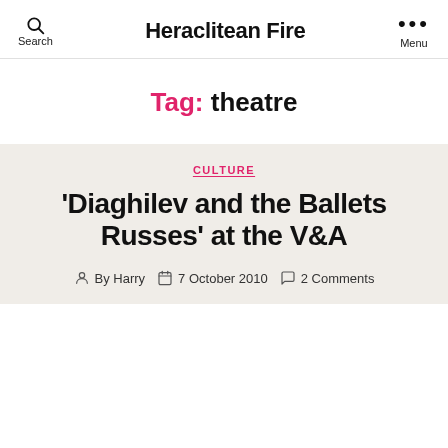Search  Heraclitean Fire  Menu
Tag: theatre
CULTURE
'Diaghilev and the Ballets Russes' at the V&A
By Harry  7 October 2010  2 Comments